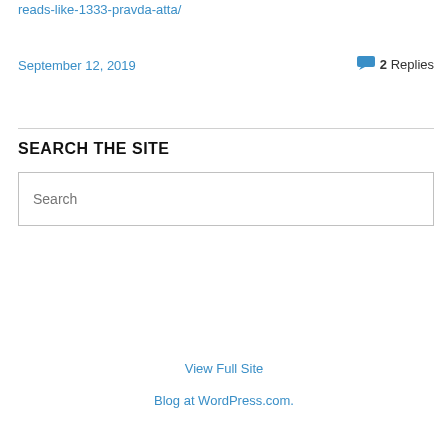reads-like-1333-pravda-atta/
September 12, 2019
2 Replies
SEARCH THE SITE
Search
View Full Site
Blog at WordPress.com.